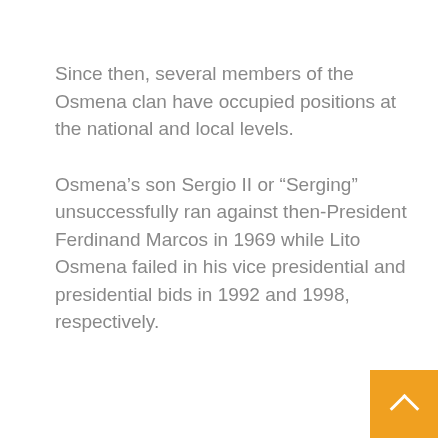Since then, several members of the Osmena clan have occupied positions at the national and local levels.
Osmena’s son Sergio II or “Serging” unsuccessfully ran against then-President Ferdinand Marcos in 1969 while Lito Osmena failed in his vice presidential and presidential bids in 1992 and 1998, respectively.